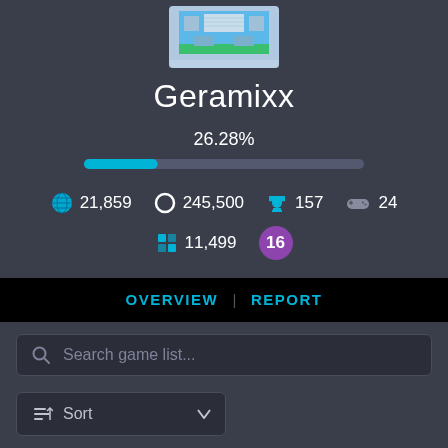[Figure (illustration): Partial avatar/profile image at top, cropped, showing a tiled/game character image]
Geramixx
26.28%
[Figure (infographic): Progress bar showing 26.28% filled in blue on dark background]
21,859
245,500
157
24
11,499
16
OVERVIEW | REPORT
Search game list...
Sort